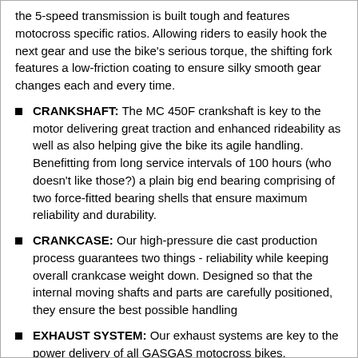the 5-speed transmission is built tough and features motocross specific ratios. Allowing riders to easily hook the next gear and use the bike's serious torque, the shifting fork features a low-friction coating to ensure silky smooth gear changes each and every time.
CRANKSHAFT: The MC 450F crankshaft is key to the motor delivering great traction and enhanced rideability as well as also helping give the bike its agile handling. Benefitting from long service intervals of 100 hours (who doesn't like those?) a plain big end bearing comprising of two force-fitted bearing shells that ensure maximum reliability and durability.
CRANKCASE: Our high-pressure die cast production process guarantees two things - reliability while keeping overall crankcase weight down. Designed so that the internal moving shafts and parts are carefully positioned, they ensure the best possible handling
EXHAUST SYSTEM: Our exhaust systems are key to the power delivery of all GASGAS motocross bikes. Developed to be slim using an innovative 3D process, they comply with FIM sound regulations, look great